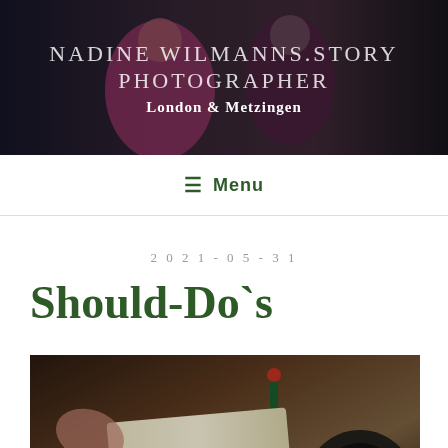[Figure (photo): Header photo showing people in colorful clothing (pink jacket visible), dark/moody background. Photographer's website header image.]
NADINE WILMANNS.STORY PHOTOGRAPHER
London & Metzingen
≡  Menu
2021-05-31
Should-Do`s
[Figure (photo): Close-up photo of hands holding ribbon/tag with text 'DO ALL THINGS WITH LOVE' and a heart symbol, with colorful pencils and a green tassel and camera lens visible in the background.]